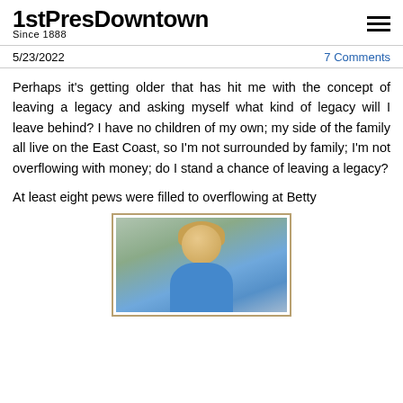1stPresDowntown Since 1888
5/23/2022
7 Comments
Perhaps it’s getting older that has hit me with the concept of leaving a legacy and asking myself what kind of legacy will I leave behind? I have no children of my own; my side of the family all live on the East Coast, so I’m not surrounded by family; I’m not overflowing with money; do I stand a chance of leaving a legacy?
At least eight pews were filled to overflowing at Betty
[Figure (photo): Portrait photo of a smiling woman with short curly blonde hair wearing a blue jacket, outdoors with greenery in the background.]